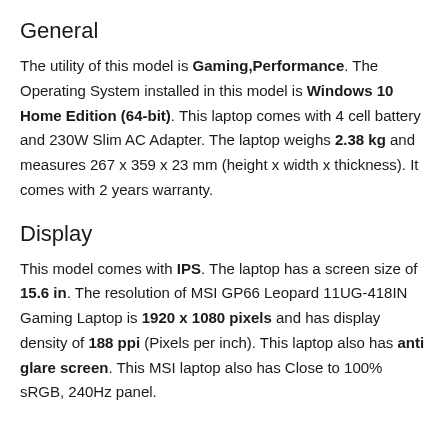General
The utility of this model is Gaming,Performance. The Operating System installed in this model is Windows 10 Home Edition (64-bit). This laptop comes with 4 cell battery and 230W Slim AC Adapter. The laptop weighs 2.38 kg and measures 267 x 359 x 23 mm (height x width x thickness). It comes with 2 years warranty.
Display
This model comes with IPS. The laptop has a screen size of 15.6 in. The resolution of MSI GP66 Leopard 11UG-418IN Gaming Laptop is 1920 x 1080 pixels and has display density of 188 ppi (Pixels per inch). This laptop also has anti glare screen. This MSI laptop also has Close to 100% sRGB, 240Hz panel.